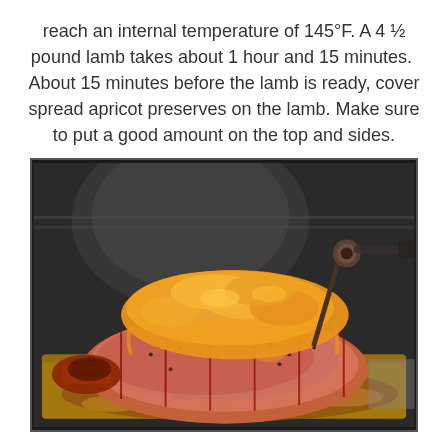reach an internal temperature of 145°F. A 4 ½ pound lamb takes about 1 hour and 15 minutes.  About 15 minutes before the lamb is ready, cover spread apricot preserves on the lamb. Make sure to put a good amount on the top and sides.
[Figure (photo): A lamb roast covered with apricot preserves on top, sitting in a roasting pan inside an oven. The lamb is tied with string, seasoned with pepper, and has a meat thermometer probe inserted. The apricot preserves are spread generously on top. The roasting pan has juices and drippings around the meat.]